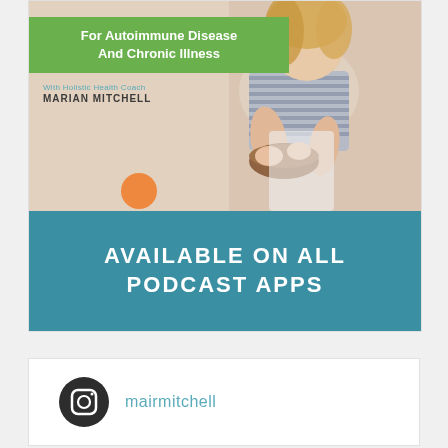[Figure (illustration): Podcast promotional card showing a woman in a striped shirt holding a bowl, with a green banner reading 'For Autoimmune Disease And Chronic Illness', text 'With Holistic Health Coach MARIAN MITCHELL', and a teal banner at the bottom reading 'AVAILABLE ON ALL PODCAST APPS']
For Autoimmune Disease And Chronic Illness
With Holistic Health Coach MARIAN MITCHELL
AVAILABLE ON ALL PODCAST APPS
[Figure (logo): Instagram icon (camera outline) in a dark circle]
mairmitchell